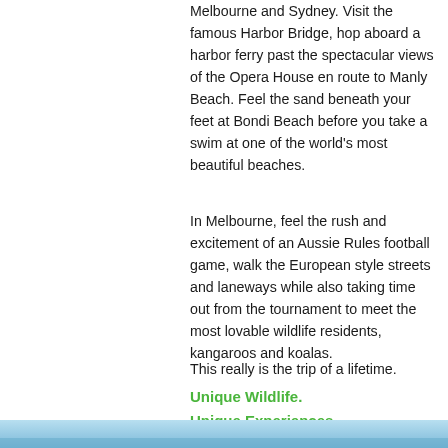Melbourne and Sydney. Visit the famous Harbor Bridge, hop aboard a harbor ferry past the spectacular views of the Opera House en route to Manly Beach. Feel the sand beneath your feet at Bondi Beach before you take a swim at one of the world's most beautiful beaches.
In Melbourne, feel the rush and excitement of an Aussie Rules football game, walk the European style streets and laneways while also taking time out from the tournament to meet the most lovable wildlife residents, kangaroos and koalas.
This really is the trip of a lifetime.
Unique Wildlife.
Unique Experiences.
The Ultimate High School Adventure.
[Figure (photo): Partial photo strip at the bottom of the page showing what appears to be a coastal or water scene with blue tones.]